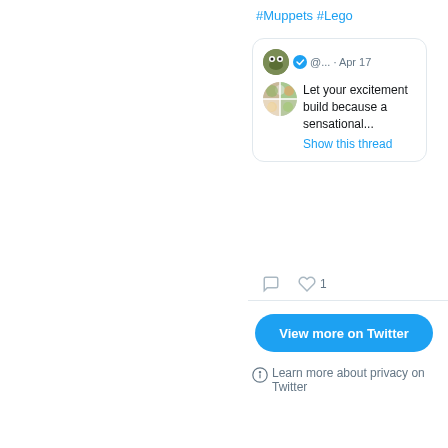#Muppets #Lego
[Figure (screenshot): Embedded tweet card showing a verified Twitter account (@...) posting on Apr 17 with text 'Let your excitement build because a sensational...' with a Show this thread link and a secondary avatar image]
1 like
View more on Twitter
Learn more about privacy on Twitter